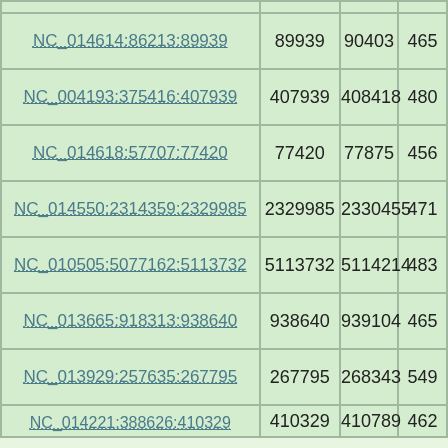| Location | Start | End | Length |
| --- | --- | --- | --- |
| NC_014614:86213:89939 | 89939 | 90403 | 465 |
| NC_004193:375416:407939 | 407939 | 408418 | 480 |
| NC_014618:57707:77420 | 77420 | 77875 | 456 |
| NC_014550:2314359:2329985 | 2329985 | 2330455 | 471 |
| NC_010505:5077162:5113732 | 5113732 | 5114214 | 483 |
| NC_013665:918313:938640 | 938640 | 939104 | 465 |
| NC_013929:257635:267795 | 267795 | 268343 | 549 |
| NC_014221:388626:410329 | 410329 | 410789 | 462 |